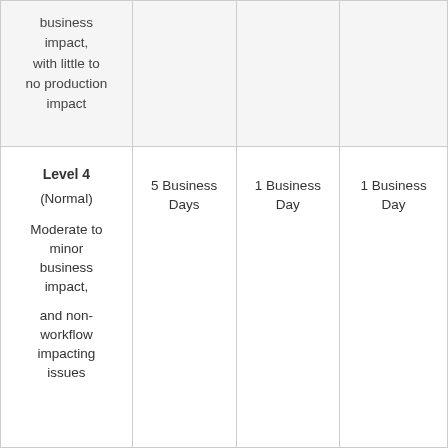| Level | Initial Response | Update Frequency | Resolution Target |
| --- | --- | --- | --- |
| business impact, with little to no production impact |  |  |  |
| Level 4 (Normal)

Moderate to minor business impact,

and non-workflow impacting issues | 5 Business Days | 1 Business Day | 1 Business Day |